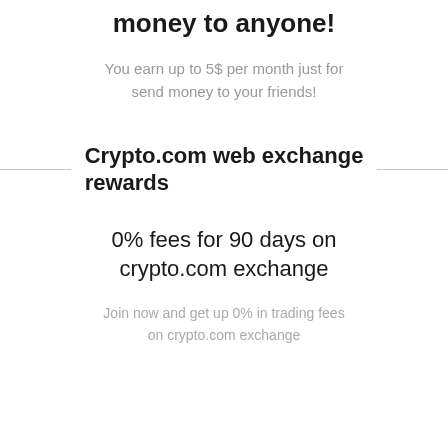money to anyone!
You earn up to 5$ per month just for send money to your friends!
Crypto.com web exchange rewards
0% fees for 90 days on crypto.com exchange
Join now and get up 0% in trading fees on crypto.com exchange